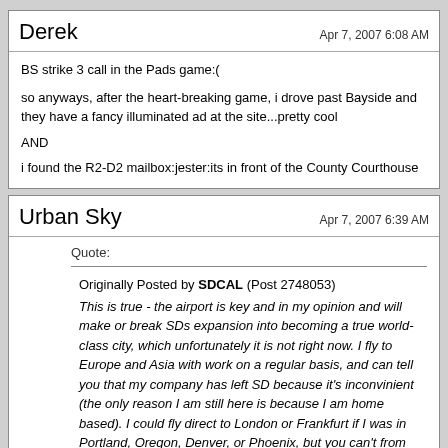Derek — Apr 7, 2007 6:08 AM
BS strike 3 call in the Pads game:(

so anyways, after the heart-breaking game, i drove past Bayside and they have a fancy illuminated ad at the site...pretty cool

AND

i found the R2-D2 mailbox:jester:its in front of the County Courthouse
Urban Sky — Apr 7, 2007 6:39 AM
Quote:

Originally Posted by SDCAL (Post 2748053)
This is true - the airport is key and in my opinion and will make or break SDs expansion into becoming a true world-class city, which unfortunately it is not right now. I fly to Europe and Asia with work on a regular basis, and can tell you that my company has left SD because it's inconvinient (the only reason I am still here is because I am home based). I could fly direct to London or Frankfurt if I was in Portland, Oregon, Denver, or Phoenix, but you can't from SD. Instead you have to shuttle to LA or SF, making SD very unattractive...